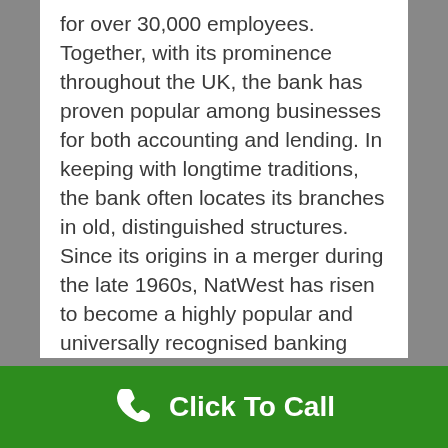for over 30,000 employees. Together, with its prominence throughout the UK, the bank has proven popular among businesses for both accounting and lending. In keeping with longtime traditions, the bank often locates its branches in old, distinguished structures. Since its origins in a merger during the late 1960s, NatWest has risen to become a highly popular and universally recognised banking establishment in modern Britain today. If you wish to get advice on any product Natwest Colwyn Bay can offer, you can contact the Natwest customer service team. NatWest has been particularly recognised for its excellent reputation as a mortgage lender.
Click To Call